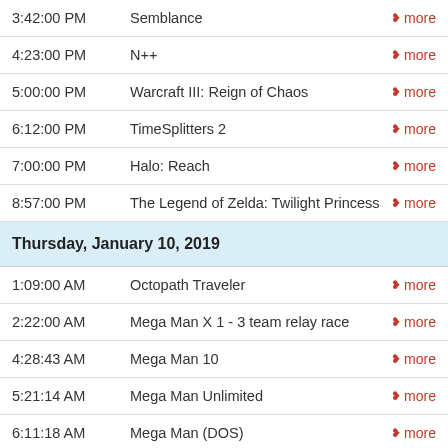3:42:00 PM  Semblance  more
4:23:00 PM  N++  more
5:00:00 PM  Warcraft III: Reign of Chaos  more
6:12:00 PM  TimeSplitters 2  more
7:00:00 PM  Halo: Reach  more
8:57:00 PM  The Legend of Zelda: Twilight Princess  more
Thursday, January 10, 2019
1:09:00 AM  Octopath Traveler  more
2:22:00 AM  Mega Man X 1 - 3 team relay race  more
4:28:43 AM  Mega Man 10  more
5:21:14 AM  Mega Man Unlimited  more
6:11:18 AM  Mega Man (DOS)  more
6:34:08 AM  Avoid the Noid  more
6:56:15 AM  Virtual Hydlide  more